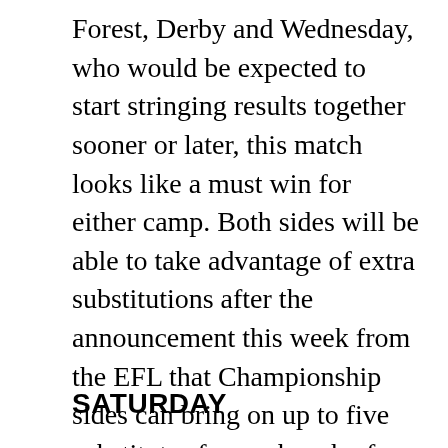Forest, Derby and Wednesday, who would be expected to start stringing results together sooner or later, this match looks like a must win for either camp. Both sides will be able to take advantage of extra substitutions after the announcement this week from the EFL that Championship sides can bring on up to five substitutes from a bench of nine. League One and League Two are now able to use five from seven named substitutes. GS
SATURDAY